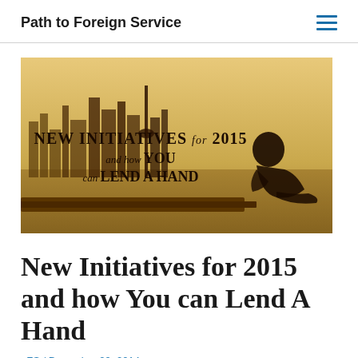Path to Foreign Service
[Figure (illustration): Sepia-toned banner image showing a city skyline in the background with a person sitting on a dock in the foreground. Text overlay reads: NEW INITIATIVES for 2015 and how YOU can LEND A HAND]
New Initiatives for 2015 and how You can Lend A Hand
pFS / December 29, 2014